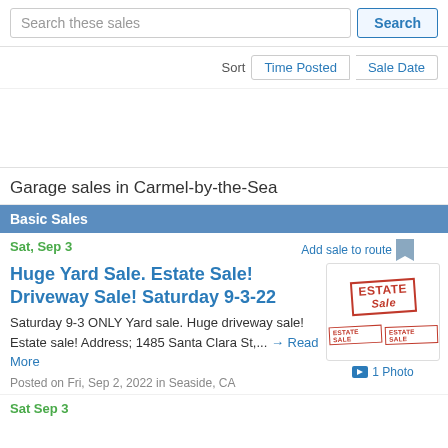Search these sales
Search
Sort   Time Posted   Sale Date
Garage sales in Carmel-by-the-Sea
Basic Sales
Sat, Sep 3
Add sale to route
Huge Yard Sale. Estate Sale! Driveway Sale! Saturday 9-3-22
[Figure (photo): Estate sale stamp images showing red stamped text 'ESTATE sale' in multiple sizes]
Saturday 9-3 ONLY Yard sale. Huge driveway sale! Estate sale! Address; 1485 Santa Clara St,... → Read More
1 Photo
Posted on Fri, Sep 2, 2022 in Seaside, CA
Sat Sep 3